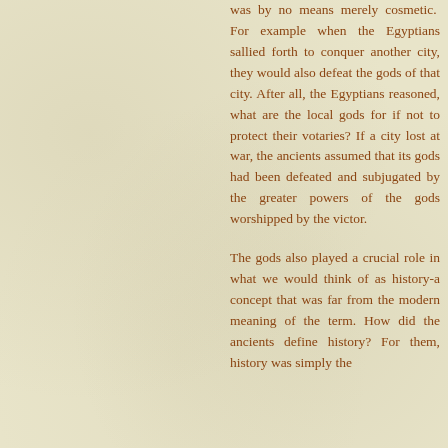was by no means merely cosmetic. For example when the Egyptians sallied forth to conquer another city, they would also defeat the gods of that city. After all, the Egyptians reasoned, what are the local gods for if not to protect their votaries? If a city lost at war, the ancients assumed that its gods had been defeated and subjugated by the greater powers of the gods worshipped by the victor.
The gods also played a crucial role in what we would think of as history-a concept that was far from the modern meaning of the term. How did the ancients define history? For them, history was simply the